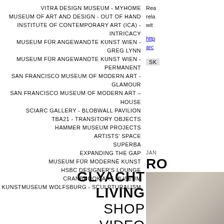VITRA DESIGN MUSEUM - MYHOME
MUSEUM OF ART AND DESIGN - OUT OF HAND
INSTITUTE OF CONTEMPORARY ART (ICA) - INTRICACY
MUSEUM FÜR ANGEWANDTE KUNST WIEN - GREG LYNN
MUSEUM FÜR ANGEWANDTE KUNST WIEN - PERMANENT
SAN FRANCISCO MUSEUM OF MODERN ART - GLAMOUR
SAN FRANCISCO MUSEUM OF MODERN ART – HOUSE
SCIARC GALLERY - BLOBWALL PAVILION
TBA21 - TRANSITORY OBJECTS
HAMMER MUSEUM PROJECTS
ARTISTS' SPACE
SUPERBA
EXPANDING THE GAP
MUSEUM FÜR MODERNË KUNST
HSBC DESIGNER'S LOUNGE
CRANBROOK ART MUSEUM
KUNSTMUSEUM WOLFSBURG - SCULPTURALISM
GLYACHT
LIVING
SHOP
VIDEO
Rea
rela
wit
http
arc
SK
JAN
RO